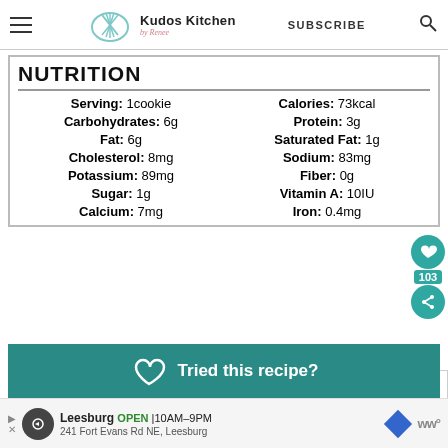Kudos Kitchen by Renee | SUBSCRIBE
NUTRITION
| Nutrient | Value |
| --- | --- |
| Serving: | 1cookie | Calories: | 73kcal |
| Carbohydrates: | 6g | Protein: | 3g |
| Fat: | 6g | Saturated Fat: | 1g |
| Cholesterol: | 8mg | Sodium: | 83mg |
| Potassium: | 89mg | Fiber: | 0g |
| Sugar: | 1g | Vitamin A: | 10IU |
| Calcium: | 7mg | Iron: | 0.4mg |
Tried this recipe?
No-Bake Chocolate...
Leesburg OPEN 10AM–9PM 241 Fort Evans Rd NE, Leesburg